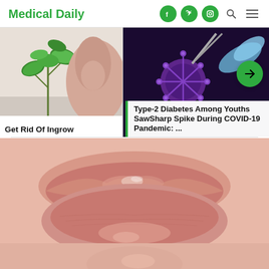Medical Daily
[Figure (photo): Photo of a person touching their neck near a plant with green leaves — ingrown hair article thumbnail]
Get Rid Of Ingrow
[Figure (photo): Close-up photo of a dark-field microscopy image of a coronavirus particle being handled with gloved hands — COVID-19/diabetes article thumbnail]
Type-2 Diabetes Among Youths SawSharp Spike During COVID-19 Pandemic: ...
[Figure (photo): Close-up macro photo of lips showing dry, chapped texture with visible moisture — lips health article main image]